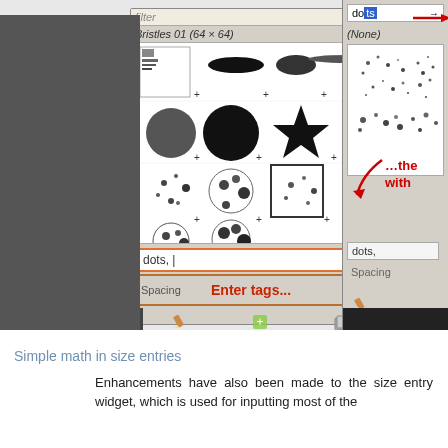[Figure (screenshot): Screenshot of a brush preset dialog in a graphics application (likely GIMP), showing a brush grid with various brush types, a tag input field reading 'dots,' with an 'Enter tags...' annotation in red, and a Spacing field showing 3.0. A second panel on the right shows a search for 'dots' with filtered results and a red arrow annotation reading '...the with'.]
Simple math in size entries
Enhancements have also been made to the size entry widget, which is used for inputting most of the